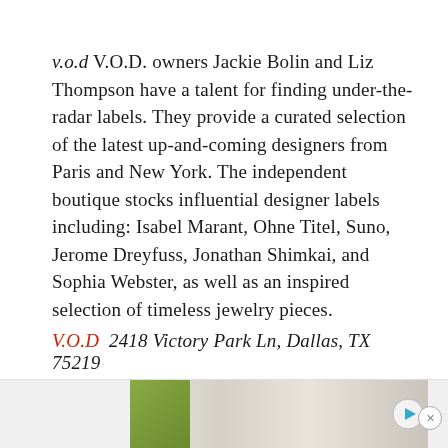v.o.d V.O.D. owners Jackie Bolin and Liz Thompson have a talent for finding under-the-radar labels. They provide a curated selection of the latest up-and-coming designers from Paris and New York. The independent boutique stocks influential designer labels including: Isabel Marant, Ohne Titel, Suno, Jerome Dreyfuss, Jonathan Shimkai, and Sophia Webster, as well as an inspired selection of timeless jewelry pieces.
V.O.D  2418 Victory Park Ln, Dallas, TX 75219
[Figure (other): Advertisement banner at the bottom of the page showing a partial interior/furniture image with a play button icon]